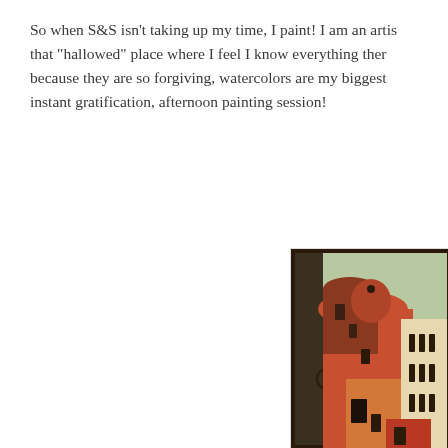So when S&S isn't taking up my time, I paint! I am an artist... that "hallowed" place where I feel I know everything there... because they are so forgiving, watercolors are my biggest... instant gratification, afternoon painting session!
[Figure (photo): A framed painting showing stylized adobe or Mediterranean buildings in warm orange, red, and brown tones with dark narrow windows, partially cropped on the right side.]